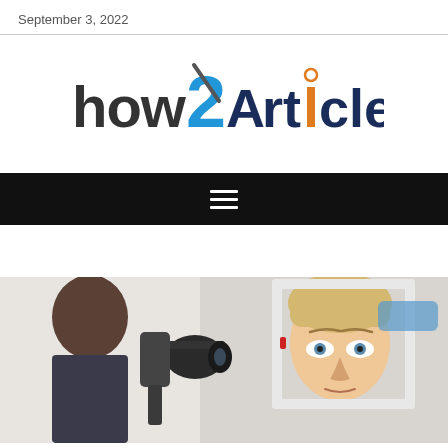September 3, 2022
[Figure (logo): how2Articles logo with stylized text: 'how' in dark gray, '2' in blue with a diagonal slash, 'Articles' in dark navy blue with the letter 'i' having an orange dot and orange stem]
[Figure (photo): Eye examination scene: a patient (blonde woman) looking into an ophthalmology slit lamp instrument while an eye doctor examines her eyes]